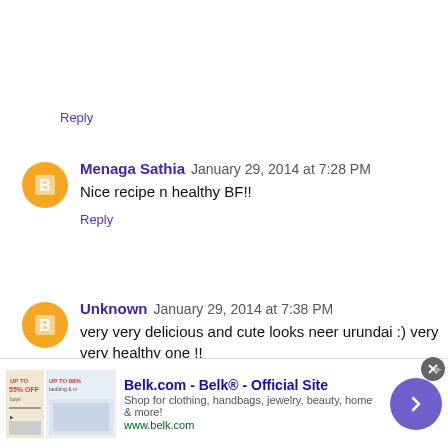Reply
Menaga Sathia January 29, 2014 at 7:28 PM
Nice recipe n healthy BF!!
Reply
Unknown January 29, 2014 at 7:38 PM
very very delicious and cute looks neer urundai :) very very healthy one !!
[Figure (screenshot): Belk.com advertisement banner at bottom of page]